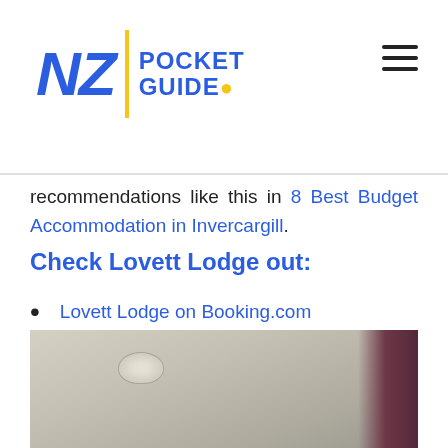[Figure (logo): NZ Pocket Guide logo with yellow divider bar and location pin icon, plus hamburger menu icon top right]
recommendations like this in 8 Best Budget Accommodation in Invercargill.
Check Lovett Lodge out:
Lovett Lodge on Booking.com
Lovett Lodge on Trip.com
Lovett Lodge on Expedia
[Figure (photo): Interior room photo showing a white ceiling with a wall-mounted light fixture and dark curtain on the right side]